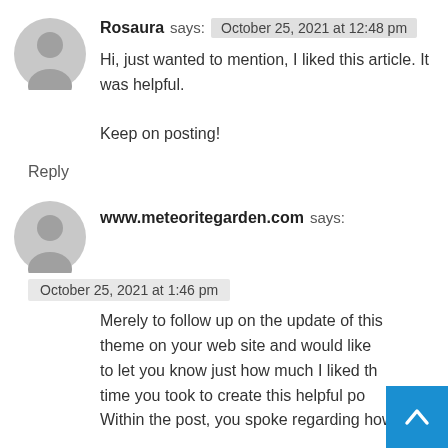Rosaura says: October 25, 2021 at 12:48 pm
Hi, just wanted to mention, I liked this article. It was helpful.

Keep on posting!
Reply
www.meteoritegarden.com says:
October 25, 2021 at 1:46 pm
Merely to follow up on the update of this theme on your web site and would like to let you know just how much I liked th time you took to create this helpful po Within the post, you spoke regarding how to